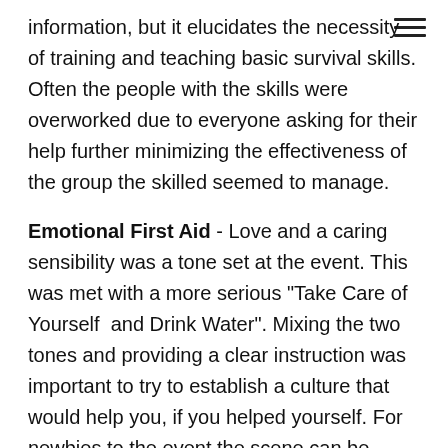≡
information, but it elucidates the necessity of training and teaching basic survival skills. Often the people with the skills were overworked due to everyone asking for their help further minimizing the effectiveness of the group the skilled seemed to manage.
Emotional First Aid - Love and a caring sensibility was a tone set at the event. This was met with a more serious "Take Care of Yourself  and Drink Water". Mixing the two tones and providing a clear instruction was important to try to establish a culture that would help you, if you helped yourself. For newbies to the event the scene can be overwhelming and a culture shock. This mixed with dehydration, alcohol and drugs adds to the psychological impact, which makes it a good study to